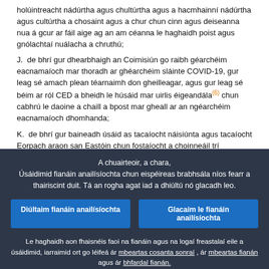holúintreacht nádúrtha agus chultúrtha agus a hacmhainní nádúrtha agus cultúrtha a chosaint agus a chur chun cinn agus deiseanna nua á gcur ar fáil aige ag an am céanna le haghaidh poist agus gnólachtaí nuálacha a chruthú;
J.  de bhrí gur dhearbhaigh an Coimisiún go raibh géarchéim eacnamaíoch mar thoradh ar ghéarchéim sláinte COVID-19, gur leag sé amach plean téarnaimh don gheilleagar, agus gur leag sé béim ar ról CED a bheidh le húsáid mar uirlis éigeandála(6) chun cabhrú le daoine a chaill a bpost mar gheall ar an ngéarchéim eacnamaíoch dhomhanda;
K.  de bhrí gur baineadh úsáid as tacaíocht náisiúnta agus tacaíocht Eorpach araon san Eastóin chun fostaíocht a choinneáil trí scéimeanna oibre gearr-ama agus trí ionstraim SURE chun tionchar phaindéim COVID-19 agus na géarchéime gaolmhaire ar mhargadh an tsaothair a mhaolú;
L.  de bhrí gurb é seo an chéad slógadh de CED mar gheall ar ghéarchéim COVID-19, tar éis é a bheith luaite i rún ó Pharlaimint na hEorpa an 18 Meitheamh 2020 maidir leis an togra le haghaidh cinneadh ó Pharlaimint na hEorpa agus ón gComhairle maidir leis an gCiste Eorpach um Choigeartú don
A chuairteoir, a chara,
Úsáidimid fianáin anailísíochta chun eispéireas brabhsála níos fearr a thairiscint duit. Tá an rogha agat iad a dhiúltú nó glacadh leo.
Diúltaim fianáin anailísíochta
Glacaim le fianáin anailísíochta
Le haghaidh aon fhaisnéis faoi na fianáin agus na logaí freastalaí eile a úsáidimid, iarraimid ort go léifeá ár mbeartas cosanta sonraí , ár mbeartas fianán agus ár bhfardal fianán.